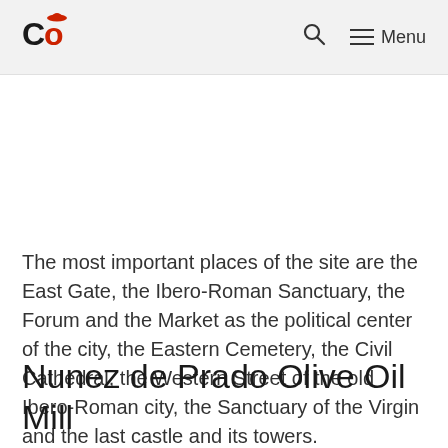Co [logo] | Search | Menu
The most important places of the site are the East Gate, the Ibero-Roman Sanctuary, the Forum and the Market as the political center of the city, the Eastern Cemetery, the Civil Cathedral, the Western Street of the old Ibero-Roman city, the Sanctuary of the Virgin and the last castle and its towers.
Nunez de Prado Olive Oil Mill